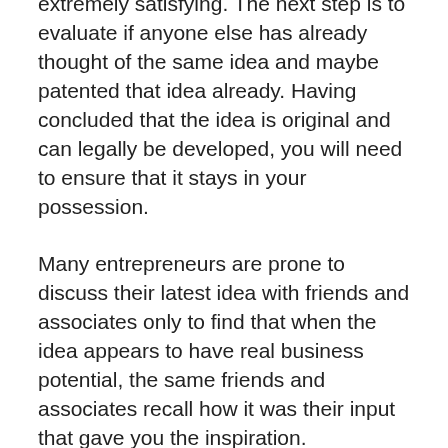extremely satisfying. The next step is to evaluate if anyone else has already thought of the same idea and maybe patented that idea already. Having concluded that the idea is original and can legally be developed, you will need to ensure that it stays in your possession.
Many entrepreneurs are prone to discuss their latest idea with friends and associates only to find that when the idea appears to have real business potential, the same friends and associates recall how it was their input that gave you the inspiration. Sometimes they recall verbal deals where you have no recollection.
Litigation stalks entrepreneurs at every turn. Many ideas are an enhancement of a product or service that is in fact only of